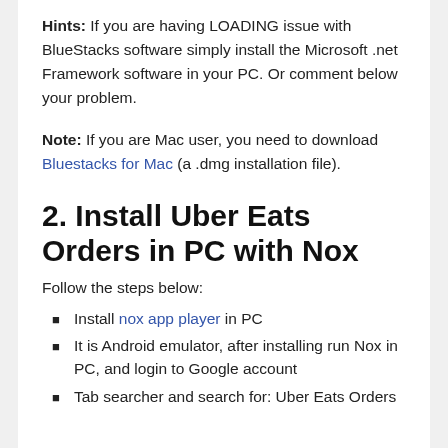Hints: If you are having LOADING issue with BlueStacks software simply install the Microsoft .net Framework software in your PC. Or comment below your problem.
Note: If you are Mac user, you need to download Bluestacks for Mac (a .dmg installation file).
2. Install Uber Eats Orders in PC with Nox
Follow the steps below:
Install nox app player in PC
It is Android emulator, after installing run Nox in PC, and login to Google account
Tab searcher and search for: Uber Eats Orders